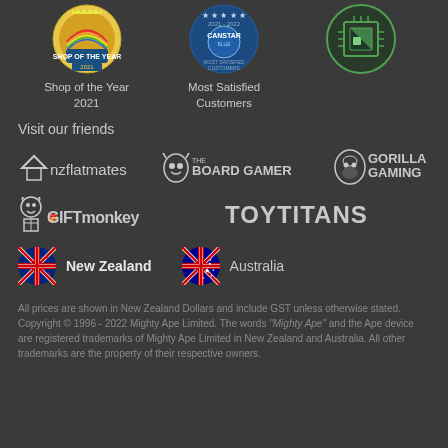[Figure (logo): Shop of the Year 2021 award badge - colorful circular badge]
[Figure (logo): Canstar Most Satisfied Customers award badge - blue circular badge with stars]
[Figure (logo): Third award badge - green and white circular badge]
Shop of the Year 2021
Most Satisfied Customers
Visit our friends
[Figure (logo): nzflatmates logo]
[Figure (logo): The Board Gamer logo]
[Figure (logo): Gorilla Gaming logo]
[Figure (logo): GiftMonkey logo]
[Figure (logo): ToyTitans logo]
[Figure (logo): New Zealand flag circle]
New Zealand
[Figure (logo): Australia flag circle]
Australia
All prices are shown in New Zealand Dollars and include GST unless otherwise stated. Copyright © 1996 - 2022 Mighty Ape Limited. The words "Mighty Ape" and the Ape device are registered trademarks of Mighty Ape Limited in New Zealand and Australia. All other trademarks are the property of their respective owners.